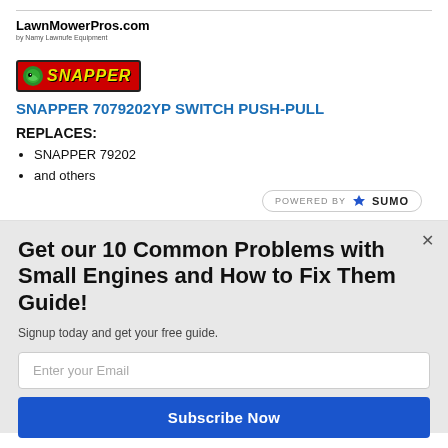LawnMowerPros.com
by Namy Lawnufe Equipment
[Figure (logo): Snapper brand logo: red background with green lizard/gecko icon and SNAPPER text in yellow italic bold on dark red rectangular badge]
SNAPPER 7079202YP SWITCH PUSH-PULL
REPLACES:
SNAPPER 79202
and others
[Figure (logo): POWERED BY SUMO badge with crown icon]
Get our 10 Common Problems with Small Engines and How to Fix Them Guide!
Signup today and get your free guide.
Enter your Email
Subscribe Now